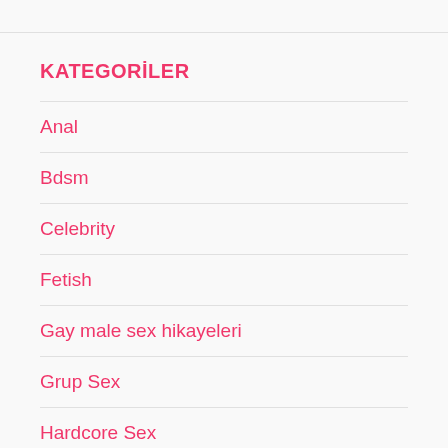KATEGORİLER
Anal
Bdsm
Celebrity
Fetish
Gay male sex hikayeleri
Grup Sex
Hardcore Sex
Humor Sex